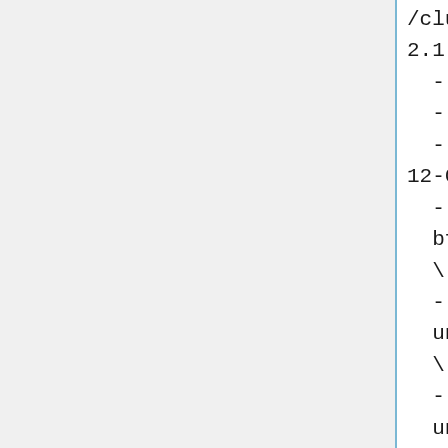/cluster/apps/nss/alphafold/alp2.1.1/run_alphafold.py \
    --data_dir=$DATA_DIR \
    --output_dir=$OUTPUT_DIR \
    --max_template_date="2021-12-06" \
    --
    bfd_database_path=$DATA_DIR/bfd\
    \
    --
    uniref90_database_path=$DATA_DI\
    \
    --
    uniclust30_database_path=$DATA_\
    \
    --
    mgnify_database_path=$DATA_DIR/\
    \
    --
    template_mmcif_dir=$DATA_DIR/po\
    \
    --
    obsolete_pdbs_path=$DATA_DIR/po\
    \